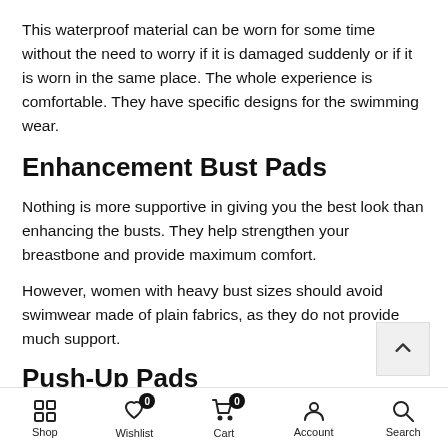This waterproof material can be worn for some time without the need to worry if it is damaged suddenly or if it is worn in the same place. The whole experience is comfortable. They have specific designs for the swimming wear.
Enhancement Bust Pads
Nothing is more supportive in giving you the best look than enhancing the busts. They help strengthen your breastbone and provide maximum comfort.
However, women with heavy bust sizes should avoid swimwear made of plain fabrics, as they do not provide much support.
Push-Up Pads
The aim is to lift your breasts up and upward. It raises the bust
Shop   Wishlist   Cart   Account   Search